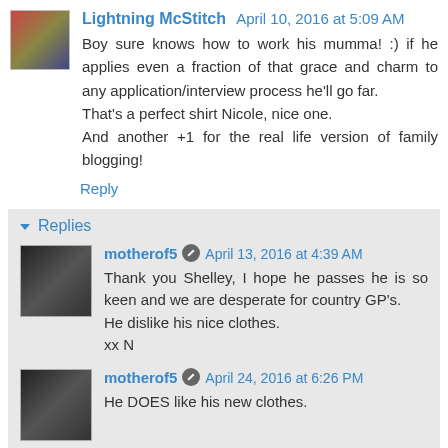Lightning McStitch  April 10, 2016 at 5:09 AM
Boy sure knows how to work his mumma! :) if he applies even a fraction of that grace and charm to any application/interview process he'll go far.
That's a perfect shirt Nicole, nice one.
And another +1 for the real life version of family blogging!
Reply
Replies
motherof5  April 13, 2016 at 4:39 AM
Thank you Shelley, I hope he passes he is so keen and we are desperate for country GP's.
He dislike his nice clothes.
xx N
motherof5  April 24, 2016 at 6:26 PM
He DOES like his new clothes.